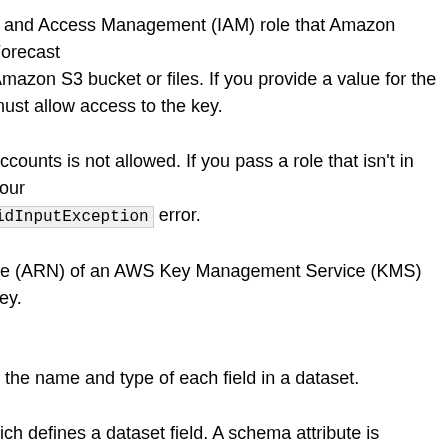y and Access Management (IAM) role that Amazon Forecast Amazon S3 bucket or files. If you provide a value for the must allow access to the key.
accounts is not allowed. If you pass a role that isn't in your idInputException error.
ne (ARN) of an AWS Key Management Service (KMS) key.
g the name and type of each field in a dataset.
hich defines a dataset field. A schema attribute is required for